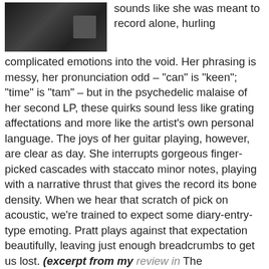[Figure (photo): A dark photo showing a person, likely indoors, with green and dark tones.]
sounds like she was meant to record alone, hurling complicated emotions into the void. Her phrasing is messy, her pronunciation odd – “can” is “keen”; “time” is “tam” – but in the psychedelic malaise of her second LP, these quirks sound less like grating affectations and more like the artist’s own personal language. The joys of her guitar playing, however, are clear as day. She interrupts gorgeous finger-picked cascades with staccato minor notes, playing with a narrative thrust that gives the record its bone density. When we hear that scratch of pick on acoustic, we’re trained to expect some diary-entry-type emoting. Pratt plays against that expectation beautifully, leaving just enough breadcrumbs to get us lost. (excerpt from my review in The